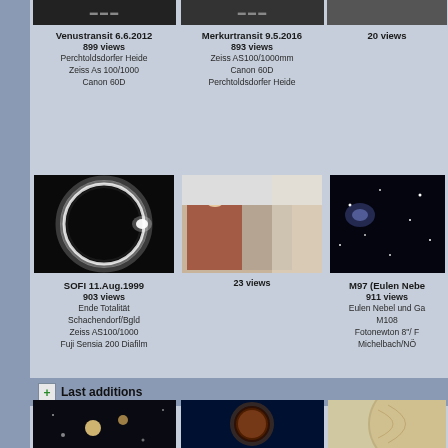[Figure (photo): Venustransit solar image thumbnail]
Venustransit 6.6.2012
899 views
Perchtoldsdorfer Heide
Zeiss As 100/1000
Canon 60D
[Figure (photo): Merkurtransit solar image thumbnail]
Merkurtransit 9.5.2016
893 views
Zeiss AS100/1000mm
Canon 60D
Perchtoldsdorfer Heide
[Figure (photo): Partial right-side image, 20 views]
20 views
[Figure (photo): SOFI solar eclipse diamond ring photo]
SOFI 11.Aug.1999
903 views
Ende Totalität
Schachendorf/Bgld
Zeiss AS100/1000
Fuji Sensia 200 Diafilm
[Figure (photo): People at a gathering]
23 views
[Figure (photo): M97 Eulen Nebel astronomical image (partial)]
M97 (Eulen Nebe
911 views
Eulen Nebel und Ga
M108
Fotonewton 8"/ F
Michelbach/NÖ
Last additions
[Figure (photo): Astronomical night sky image thumbnail]
[Figure (photo): Lunar eclipse thumbnail]
[Figure (photo): Planet close-up thumbnail (partial)]